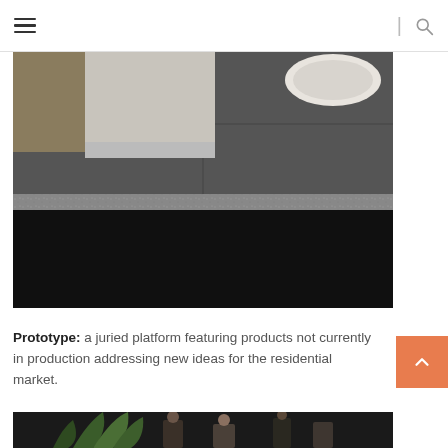Navigation header with hamburger menu and search icon
[Figure (photo): Dark bathroom floor photo showing tile floor with granite edge, toilet base, and white bowl visible in upper right corner]
Prototype: a juried platform featuring products not currently in production addressing new ideas for the residential market.
[Figure (photo): Bottom portion of a photo showing people gathered around plants in an indoor setting]